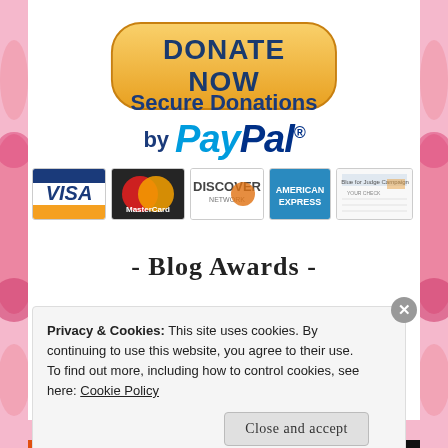[Figure (illustration): DONATE NOW button with golden gradient rounded rectangle and dark blue bold text]
Secure Donations by PayPal
[Figure (illustration): Payment method logos: Visa, MasterCard, Discover Network, American Express, and a personal check image]
- Blog Awards -
Privacy & Cookies: This site uses cookies. By continuing to use this website, you agree to their use.
To find out more, including how to control cookies, see here: Cookie Policy
Close and accept